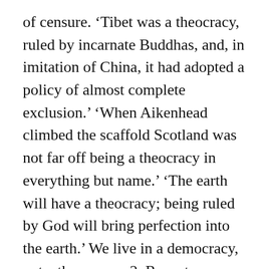of censure. 'Tibet was a theocracy, ruled by incarnate Buddhas, and, in imitation of China, it had adopted a policy of almost complete exclusion.' 'When Aikenhead climbed the scaffold Scotland was not far off being a theocracy in everything but name.' 'The earth will have a theocracy; being ruled by God will bring perfection into the earth.' We live in a democracy, not a theocracy . 2. Recent Examples on the Web The theocrats ruling Iran showed their fear of the popular movement when their security forces put down the demonstrations with live fire, ... key to the Pope's spiritually motivated defiance of the Soviets was its nonviolence. In theocracy, the rulers of a country make laws based on